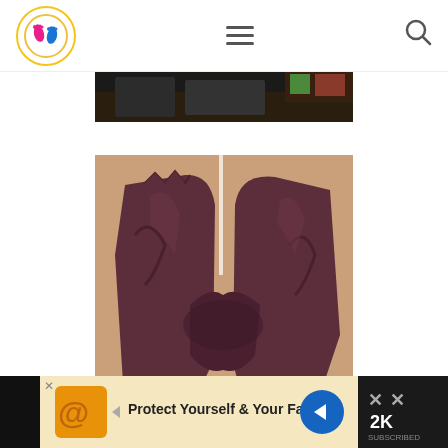Website header with logo, hamburger menu, and search icon
[Figure (photo): Top partial photo showing a dark background, likely a room or shelf scene]
[Figure (photo): Dark maroon/brown fabric (appears to be pants or leggings) laid flat on a tan/beige surface, showing the crotch/waistband area spread out]
[Figure (photo): Advertisement banner: orange logo, play button, 'Protect Yourself & Your Family' text, blue navigation icon, and dark right section with X and 2K branding]